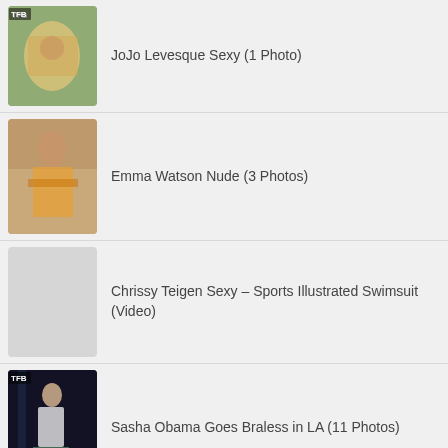JoJo Levesque Sexy (1 Photo)
Emma Watson Nude (3 Photos)
Chrissy Teigen Sexy – Sports Illustrated Swimsuit (Video)
Sasha Obama Goes Braless in LA (11 Photos)
PAGINATION / LOAD MORE